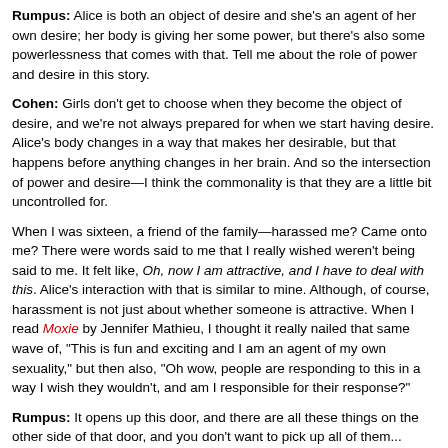Rumpus: Alice is both an object of desire and she's an agent of her own desire; her body is giving her some power, but there's also some powerlessness that comes with that. Tell me about the role of power and desire in this story.
Cohen: Girls don't get to choose when they become the object of desire, and we're not always prepared for when we start having desire. Alice's body changes in a way that makes her desirable, but that happens before anything changes in her brain. And so the intersection of power and desire—I think the commonality is that they are a little bit uncontrolled for.
When I was sixteen, a friend of the family—harassed me? Came onto me? There were words said to me that I really wished weren't being said to me. It felt like, Oh, now I am attractive, and I have to deal with this. Alice's interaction with that is similar to mine. Although, of course, harassment is not just about whether someone is attractive. When I read Moxie by Jennifer Mathieu, I thought it really nailed that same wave of, "This is fun and exciting and I am an agent of my own sexuality," but then also, "Oh wow, people are responding to this in a way I wish they wouldn't, and am I responsible for their response?"
Rumpus: It opens up this door, and there are all these things on the other side of that door, and you don't want to pick up all of them...